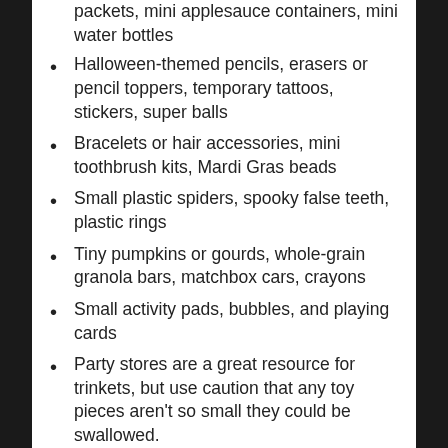packets, mini applesauce containers, mini water bottles
Halloween-themed pencils, erasers or pencil toppers, temporary tattoos, stickers, super balls
Bracelets or hair accessories, mini toothbrush kits, Mardi Gras beads
Small plastic spiders, spooky false teeth, plastic rings
Tiny pumpkins or gourds, whole-grain granola bars, matchbox cars, crayons
Small activity pads, bubbles, and playing cards
Party stores are a great resource for trinkets, but use caution that any toy pieces aren't so small they could be swallowed.
Party Food Ideas